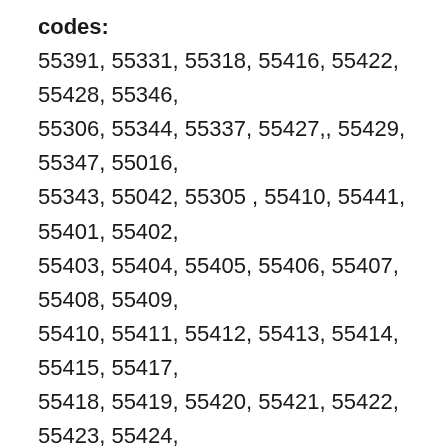codes: 55391, 55331, 55318, 55416, 55422, 55428, 55346, 55306, 55344, 55337, 55427,, 55429, 55347, 55016, 55343, 55042, 55305 , 55410, 55441, 55401, 55402, 55403, 55404, 55405, 55406, 55407, 55408, 55409, 55410, 55411, 55412, 55413, 55414, 55415, 55417, 55418, 55419, 55420, 55421, 55422, 55423, 55424, 55425, 55426, 55427, 55428, 55429, 55430, 55431, 55432, 55433, 55434, 55435, 55436, 55437, 55438, 55439, 55440, 55441, 55442, 55443, 55444, 55445, 55446, 55345, 55447, 55448, 55449, 55450, 55454, 55455, 55458, 55459, 55460, 55467, 55470, 55472, 55474, 55478, 55479, 55480, 55483, 55484, 55485, 55486, 55487, 55488, 55101, 55118, 55119, 55145, 55146, 55102, 55103, 55104, 55105, 55106, 55107, 55108, 55109, 55110, 55111, 55112, 55113, 55114,